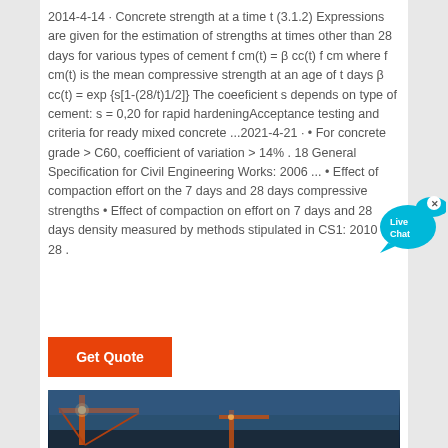2014-4-14 · Concrete strength at a time t (3.1.2) Expressions are given for the estimation of strengths at times other than 28 days for various types of cement f cm(t) = β cc(t) f cm where f cm(t) is the mean compressive strength at an age of t days β cc(t) = exp {s[1-(28/t)1/2]} The coeeficient s depends on type of cement: s = 0,20 for rapid hardeningAcceptance testing and criteria for ready mixed concrete ...2021-4-21 · • For concrete grade > C60, coefficient of variation > 14% . 18 General Specification for Civil Engineering Works: 2006 ... • Effect of compaction effort on the 7 days and 28 days compressive strengths • Effect of compaction on effort on 7 days and 28 days density measured by methods stipulated in CS1: 2010 . 28 .
[Figure (other): Live Chat bubble widget with cyan speech bubble and text 'Live Chat' with an X close button]
[Figure (other): Orange 'Get Quote' button]
[Figure (photo): Photo of construction crane or industrial equipment against a blue dusk sky]